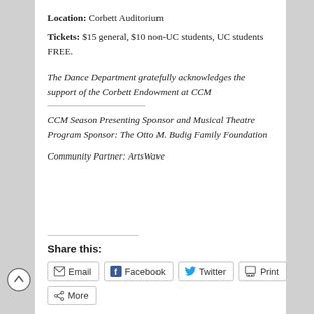Location: Corbett Auditorium
Tickets: $15 general, $10 non-UC students, UC students FREE.
The Dance Department gratefully acknowledges the support of the Corbett Endowment at CCM
CCM Season Presenting Sponsor and Musical Theatre Program Sponsor: The Otto M. Budig Family Foundation
Community Partner: ArtsWave
Share this:
Email  Facebook  Twitter  Print  More